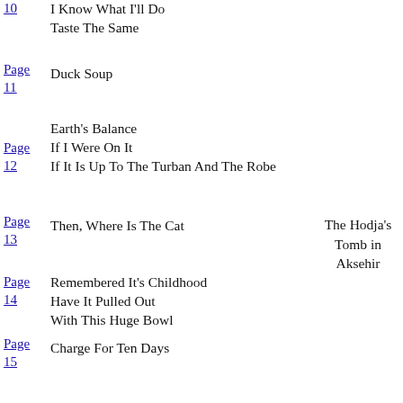10 I Know What I'll Do / Taste The Same
Page 11 Duck Soup
Page 12 Earth's Balance / If I Were On It / If It Is Up To The Turban And The Robe
Page 13 Then, Where Is The Cat
The Hodja's Tomb in Aksehir
Page 14 Remembered It's Childhood / Have It Pulled Out / With This Huge Bowl
Page 15 Charge For Ten Days
Page 16 Force You To Eat / Not To Leave His Head / To Climb Hills
Page 17 A Pan Of Baklava